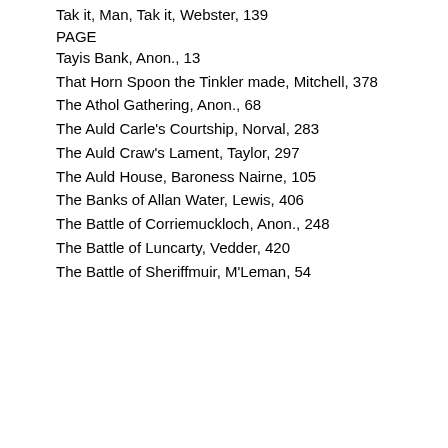Tak it, Man, Tak it, Webster, 139
PAGE
Tayis Bank, Anon., 13
That Horn Spoon the Tinkler made, Mitchell, 378
The Athol Gathering, Anon., 68
The Auld Carle's Courtship, Norval, 283
The Auld Craw's Lament, Taylor, 297
The Auld House, Baroness Nairne, 105
The Banks of Allan Water, Lewis, 406
The Battle of Corriemuckloch, Anon., 248
The Battle of Luncarty, Vedder, 420
The Battle of Sheriffmuir, M'Leman, 54